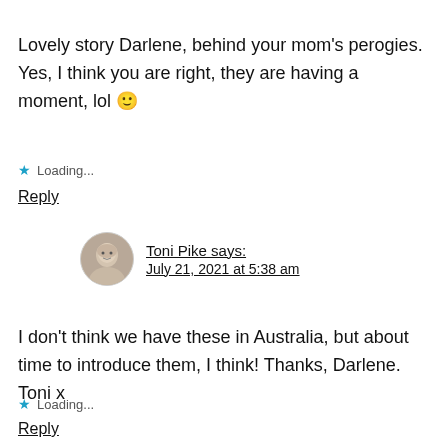Lovely story Darlene, behind your mom's perogies. Yes, I think you are right, they are having a moment, lol 🙂
★ Loading...
Reply
Toni Pike says: July 21, 2021 at 5:38 am
I don't think we have these in Australia, but about time to introduce them, I think! Thanks, Darlene. Toni x
★ Loading...
Reply